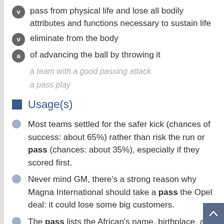v  pass from physical life and lose all bodily attributes and functions necessary to sustain life
v  eliminate from the body
a  of advancing the ball by throwing it
a team with a good passing attack
a pass play
Usage(s)
Most teams settled for the safer kick (chances of success: about 65%) rather than risk the run or pass (chances: about 35%), especially if they scored first.
Never mind GM, there's a strong reason why Magna International should take a pass the Opel deal: it could lose some big customers.
The pass lists the African's name, birthplace, and tribal affiliation, contains his picture and serial number